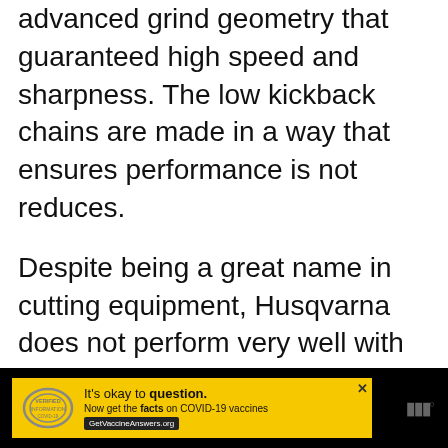advanced grind geometry that guaranteed high speed and sharpness. The low kickback chains are made in a way that ensures performance is not reduces.
Despite being a great name in cutting equipment, Husqvarna does not perform very well with chainsaws and chainsaw accessories. Most of their chains are said to work well for the original products, but replacement chains are not the best.
[Figure (other): Advertisement banner: yellow background with a stamp graphic, text 'It’s okay to question. Now get the facts on COVID-19 vaccines GetVaccineAnswers.org', close button, and a logo on black background.]